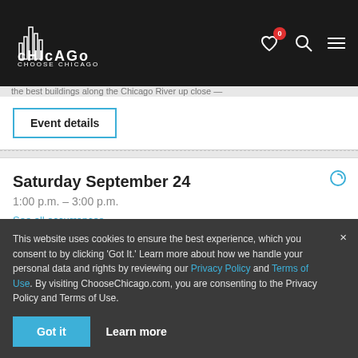Chicago – Choose Chicago navigation bar with logo, heart icon (0), search, and menu
the best buildings along the Chicago River up close —
Event details
Saturday September 24
1:00 p.m. – 3:00 p.m.
See all occurrences
Inside Chicago Walking Tours
Starting location given upon ticket purchase
This website uses cookies to ensure the best experience, which you consent to by clicking 'Got It.' Learn more about how we handle your personal data and rights by reviewing our Privacy Policy and Terms of Use. By visiting ChooseChicago.com, you are consenting to the Privacy Policy and Terms of Use.
Got it
Learn more